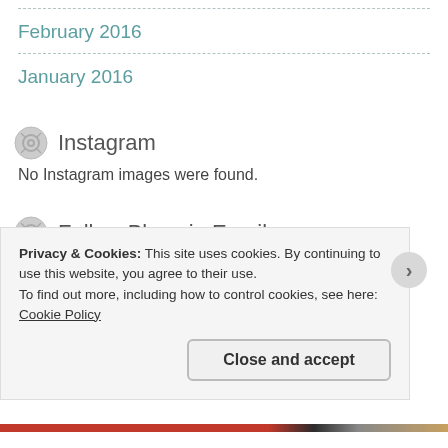February 2016
January 2016
Instagram
No Instagram images were found.
Follow Blog via Email
Enter your email address to follow this blog and receive notifications of new posts by email.
Privacy & Cookies: This site uses cookies. By continuing to use this website, you agree to their use.
To find out more, including how to control cookies, see here: Cookie Policy